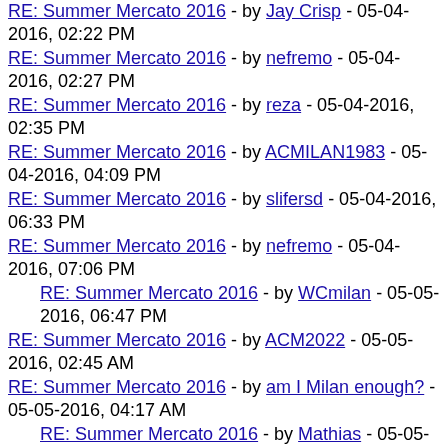RE: Summer Mercato 2016 - by Jay Crisp - 05-04-2016, 02:22 PM
RE: Summer Mercato 2016 - by nefremo - 05-04-2016, 02:27 PM
RE: Summer Mercato 2016 - by reza - 05-04-2016, 02:35 PM
RE: Summer Mercato 2016 - by ACMILAN1983 - 05-04-2016, 04:09 PM
RE: Summer Mercato 2016 - by slifersd - 05-04-2016, 06:33 PM
RE: Summer Mercato 2016 - by nefremo - 05-04-2016, 07:06 PM
RE: Summer Mercato 2016 - by WCmilan - 05-05-2016, 06:47 PM
RE: Summer Mercato 2016 - by ACM2022 - 05-05-2016, 02:45 AM
RE: Summer Mercato 2016 - by am I Milan enough? - 05-05-2016, 04:17 AM
RE: Summer Mercato 2016 - by Mathias - 05-05-2016, 11:36 AM
RE: Summer Mercato 2016 - by ACMILAN1983 - 05-05-2016, 12:58 PM
RE: Summer Mercato 2016 - by WCmilan - 05-05-2016, 02:03 PM
RE: Summer Mercato 2016 - by ACM1899 - 05-05-2016, 03:56 PM
RE: Summer Mercato 2016 - by ...